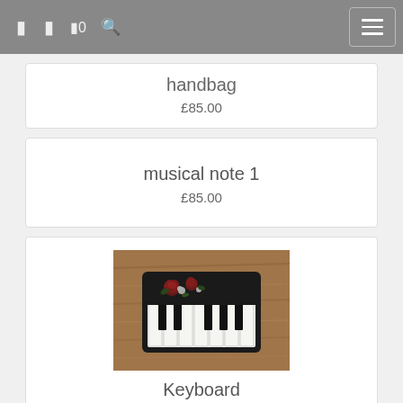[Figure (screenshot): Navigation bar with icons for menu, cart (0), search and hamburger menu button]
handbag
£85.00
musical note 1
£85.00
[Figure (photo): A beaded keyboard/piano brooch decorated with red roses on a wooden surface]
Keyboard
£85.00